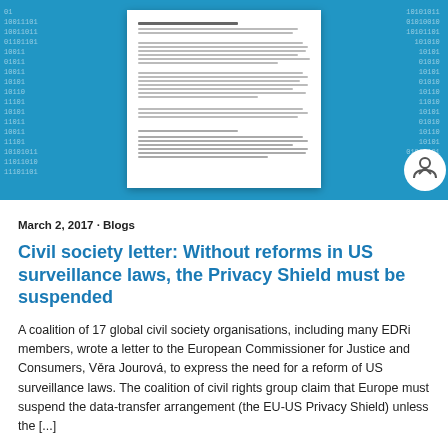[Figure (illustration): Hero banner with blue background showing binary code digits on left and right sides, and a white document/letter in the center. An accessibility icon button appears in the bottom-right corner of the banner.]
March 2, 2017 · Blogs
Civil society letter: Without reforms in US surveillance laws, the Privacy Shield must be suspended
A coalition of 17 global civil society organisations, including many EDRi members, wrote a letter to the European Commissioner for Justice and Consumers, Věra Jourová, to express the need for a reform of US surveillance laws. The coalition of civil rights group claim that Europe must suspend the data-transfer arrangement (the EU-US Privacy Shield) unless the [...]